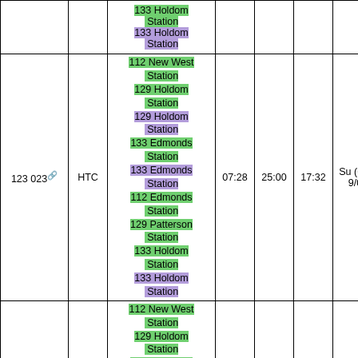| ID | Type | Stations | Start | Duration | Layover | Days |
| --- | --- | --- | --- | --- | --- | --- |
|  |  | 133 Holdom Station
133 Holdom Station |  |  |  |  |
| 123 023 | HTC | 112 New West Station
129 Holdom Station
129 Holdom Station
133 Edmonds Station
133 Edmonds Station
112 Edmonds Station
129 Patterson Station
133 Holdom Station
133 Holdom Station | 07:28 | 25:00 | 17:32 | Su (6/27-9/04) |
| 123 024 | HTC | 112 New West Station
129 Holdom Station
133 Edmonds Station
133 Edmonds Station
112 Edmonds Station | 07:38 | 23:43 | 16:05 | Su (6/27-9/04) |